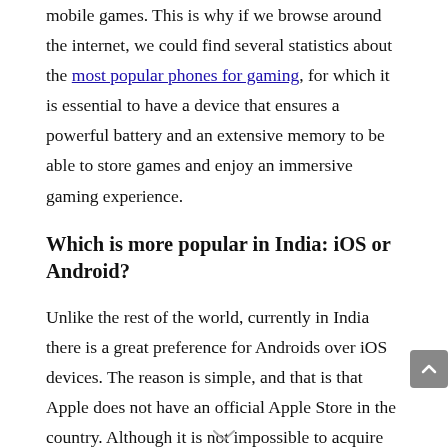mobile games. This is why if we browse around the internet, we could find several statistics about the most popular phones for gaming, for which it is essential to have a device that ensures a powerful battery and an extensive memory to be able to store games and enjoy an immersive gaming experience.
Which is more popular in India: iOS or Android?
Unlike the rest of the world, currently in India there is a great preference for Androids over iOS devices. The reason is simple, and that is that Apple does not have an official Apple Store in the country. Although it is not impossible to acquire an iPhone since there are…